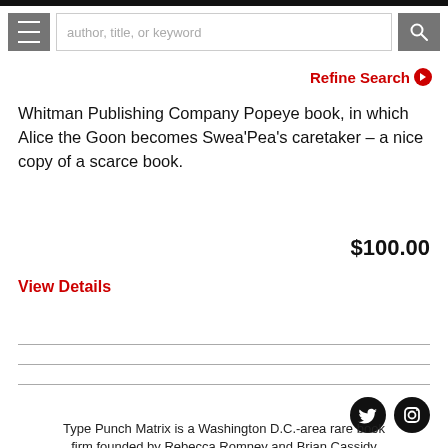author, title, or keyword [search bar]
Refine Search
Whitman Publishing Company Popeye book, in which Alice the Goon becomes Swea'Pea's caretaker – a nice copy of a scarce book.
$100.00
View Details
Type Punch Matrix is a Washington D.C.-area rare book firm founded by Rebecca Romney and Brian Cassidy